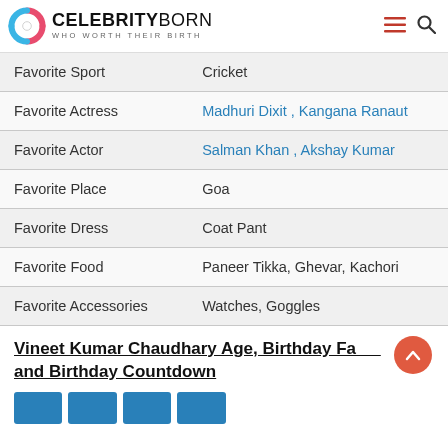CELEBRITYBORN — WHO WORTH THEIR BIRTH
| Favorite Sport | Cricket |
| Favorite Actress | Madhuri Dixit , Kangana Ranaut |
| Favorite Actor | Salman Khan , Akshay Kumar |
| Favorite Place | Goa |
| Favorite Dress | Coat Pant |
| Favorite Food | Paneer Tikka, Ghevar, Kachori |
| Favorite Accessories | Watches, Goggles |
Vineet Kumar Chaudhary Age, Birthday Facts and Birthday Countdown